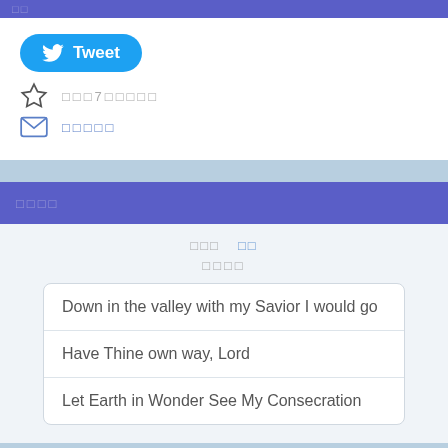□□
[Figure (screenshot): Twitter Tweet button (blue rounded rectangle with bird icon and 'Tweet' text)]
☆  □□□7□□□□□
✉  □□□□□
□□□□
□□□  □□
□□□□
Down in the valley with my Savior I would go
Have Thine own way, Lord
Let Earth in Wonder See My Consecration